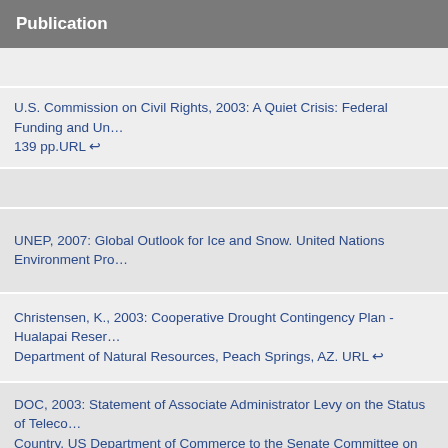Publication
U.S. Commission on Civil Rights, 2003: A Quiet Crisis: Federal Funding and Unmet Needs in Indian Country. 139 pp.URL ↩
UNEP, 2007: Global Outlook for Ice and Snow. United Nations Environment Programme
Christensen, K., 2003: Cooperative Drought Contingency Plan - Hualapai Reservation. Department of Natural Resources, Peach Springs, AZ. URL ↩
DOC, 2003: Statement of Associate Administrator Levy on the Status of Telecommunications in Indian Country, US Department of Commerce to the Senate Committee on Indian Affairs Hearing on Telecommunications in Indian Country. May 22, 2003. U.S. Department of Commerce. URL ↩